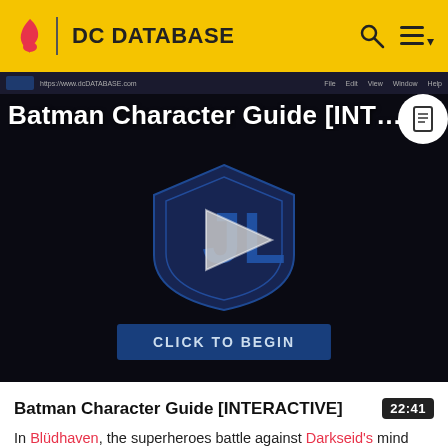DC DATABASE
[Figure (screenshot): Video thumbnail for Batman Character Guide [INTERACTIVE] with play button and 'CLICK TO BEGIN' overlay on dark background with DC/Justice League shield logo]
Batman Character Guide [INTERACTIVE]
In Blüdhaven, the superheroes battle against Darkseid's mind controlled armies. As Supergirl fights the possessed Mary Marvel, Tawky Tawny takes on Kalibak. Black Adam